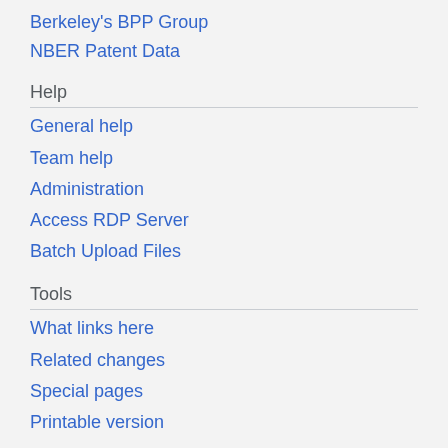Berkeley's BPP Group
NBER Patent Data
Help
General help
Team help
Administration
Access RDP Server
Batch Upload Files
Tools
What links here
Related changes
Special pages
Printable version